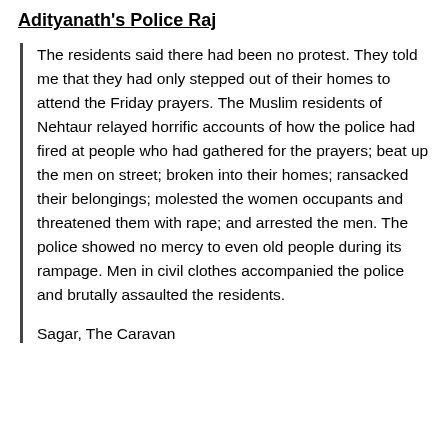Adityanath's Police Raj
The residents said there had been no protest. They told me that they had only stepped out of their homes to attend the Friday prayers. The Muslim residents of Nehtaur relayed horrific accounts of how the police had fired at people who had gathered for the prayers; beat up the men on street; broken into their homes; ransacked their belongings; molested the women occupants and threatened them with rape; and arrested the men. The police showed no mercy to even old people during its rampage. Men in civil clothes accompanied the police and brutally assaulted the residents.
Sagar, The Caravan